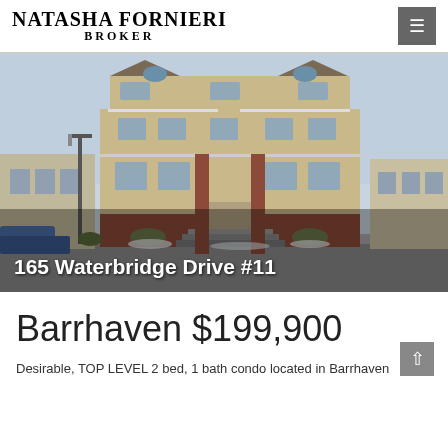NATASHA FORNIERI BROKER
[Figure (photo): Exterior photo of a 3-storey tan/beige condominium building with brick accents, balconies, and arched windows, taken in winter. Address overlay reads: 165 Waterbridge Drive #11]
Barrhaven $199,900
Desirable, TOP LEVEL 2 bed, 1 bath condo located in Barrhaven